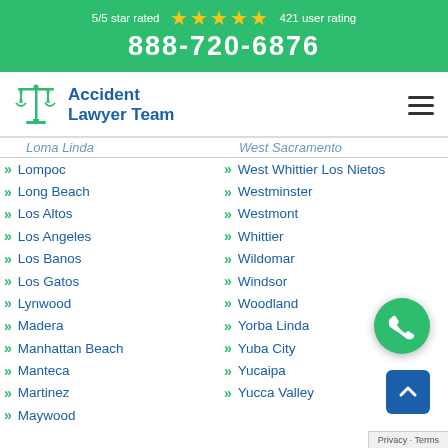[Figure (infographic): Green header banner with 5/5 star rated, 5 gold stars, 421 user rating, and phone number 888-720-6876]
[Figure (logo): Accident Lawyer Team logo with scales of justice icon and hamburger menu]
Lompoc
West Whittier Los Nietos
Long Beach
Westminster
Los Altos
Westmont
Los Angeles
Whittier
Los Banos
Wildomar
Los Gatos
Windsor
Lynwood
Woodland
Madera
Yorba Linda
Manhattan Beach
Yuba City
Manteca
Yucaipa
Martinez
Yucca Valley
Maywood